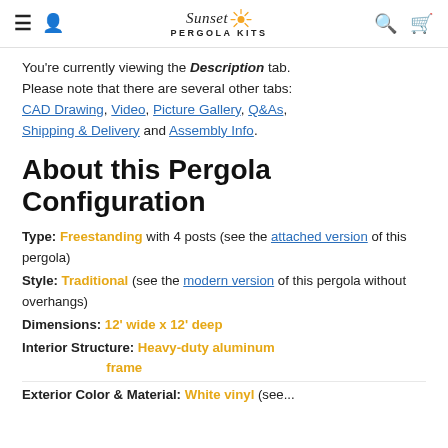Sunset Pergola Kits (navigation header)
You're currently viewing the Description tab. Please note that there are several other tabs: CAD Drawing, Video, Picture Gallery, Q&As, Shipping & Delivery and Assembly Info.
About this Pergola Configuration
Type: Freestanding with 4 posts (see the attached version of this pergola)
Style: Traditional (see the modern version of this pergola without overhangs)
Dimensions: 12' wide x 12' deep
Interior Structure: Heavy-duty aluminum frame
Exterior Color & Material: White vinyl (see...